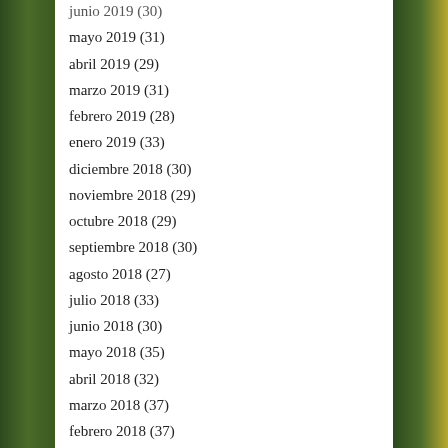junio 2019 (30)
mayo 2019 (31)
abril 2019 (29)
marzo 2019 (31)
febrero 2019 (28)
enero 2019 (33)
diciembre 2018 (30)
noviembre 2018 (29)
octubre 2018 (29)
septiembre 2018 (30)
agosto 2018 (27)
julio 2018 (33)
junio 2018 (30)
mayo 2018 (35)
abril 2018 (32)
marzo 2018 (37)
febrero 2018 (37)
enero 2018 (33)